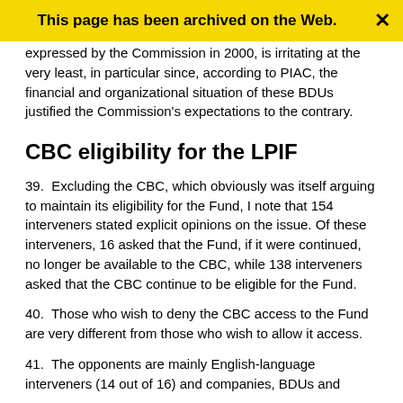This page has been archived on the Web.
expressed by the Commission in 2000, is irritating at the very least, in particular since, according to PIAC, the financial and organizational situation of these BDUs justified the Commission's expectations to the contrary.
CBC eligibility for the LPIF
39.  Excluding the CBC, which obviously was itself arguing to maintain its eligibility for the Fund, I note that 154 interveners stated explicit opinions on the issue. Of these interveners, 16 asked that the Fund, if it were continued, no longer be available to the CBC, while 138 interveners asked that the CBC continue to be eligible for the Fund.
40.  Those who wish to deny the CBC access to the Fund are very different from those who wish to allow it access.
41.  The opponents are mainly English-language interveners (14 out of 16) and companies, BDUs and